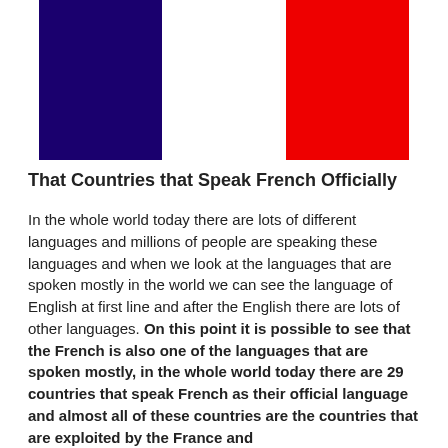[Figure (illustration): French flag (tricolore) with blue, white, and red vertical stripes]
That Countries that Speak French Officially
In the whole world today there are lots of different languages and millions of people are speaking these languages and when we look at the languages that are spoken mostly in the world we can see the language of English at first line and after the English there are lots of other languages. On this point it is possible to see that the French is also one of the languages that are spoken mostly, in the whole world today there are 29 countries that speak French as their official language and almost all of these countries are the countries that are exploited by the France and